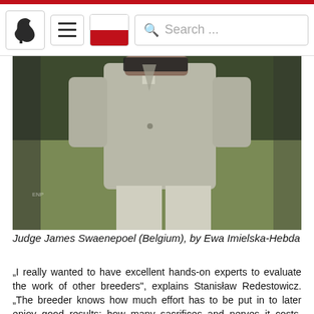Navigation bar with horse logo, hamburger menu, Polish flag, and search box
[Figure (photo): Close-up photo of a person in a light grey blazer and light trousers, holding what appears to a tablet or clipboard, standing outdoors with blurred green background]
Judge James Swaenepoel (Belgium), by Ewa Imielska-Hebda
„I really wanted to have excellent hands-on experts to evaluate the work of other breeders", explains Stanisław Redestowicz. „The breeder knows how much effort has to be put in to later enjoy good results; how many sacrifices and nerves it costs. Breeders, especially private ones, who invest their own money can not only evaluate, but also appreciate the efforts of people for whom breeding is first and foremost a passion. Owners pursuing success in breeding and the dream of an ideal horse are prepared for costs, because they know that the satisfaction out of